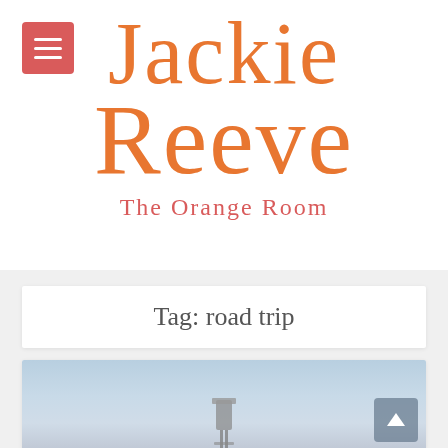[Figure (logo): Menu hamburger button (red/salmon square with three white horizontal lines)]
Jackie Reeve
The Orange Room
Tag: road trip
[Figure (photo): Photo showing a blue sky with a water tower or structure partially visible at the bottom, with a scroll-to-top arrow button in the lower right corner]